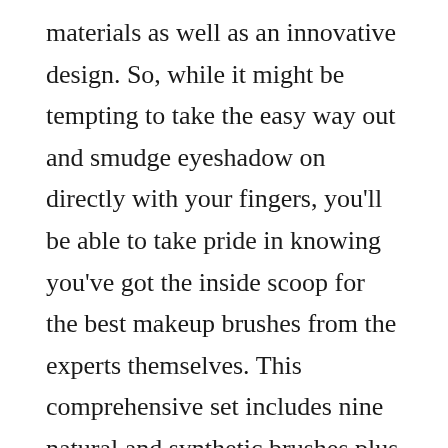materials as well as an innovative design. So, while it might be tempting to take the easy way out and smudge eyeshadow on directly with your fingers, you'll be able to take pride in knowing you've got the inside scoop for the best makeup brushes from the experts themselves. This comprehensive set includes nine natural and synthetic brushes plus a blender. Below, are the best makeup brushes and sets you can buy, according to Beauty Lab experts, makeup artists, and reviewers. At Crownbrush we have a varied selection of makeup brush sets to suit both makeup enthusiasts and make up professionals alike. It should definitely have the basics – foundation brush, concealer brush, blush brush,